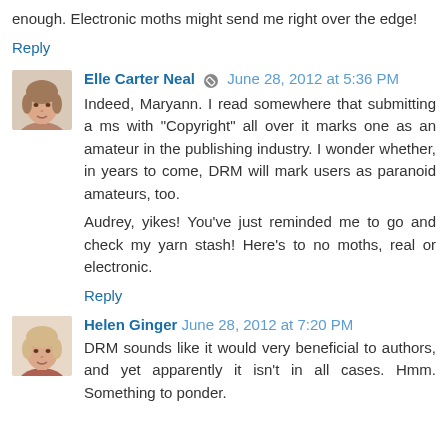enough. Electronic moths might send me right over the edge!
Reply
Elle Carter Neal  June 28, 2012 at 5:36 PM
Indeed, Maryann. I read somewhere that submitting a ms with "Copyright" all over it marks one as an amateur in the publishing industry. I wonder whether, in years to come, DRM will mark users as paranoid amateurs, too.
Audrey, yikes! You've just reminded me to go and check my yarn stash! Here's to no moths, real or electronic.
Reply
Helen Ginger  June 28, 2012 at 7:20 PM
DRM sounds like it would very beneficial to authors, and yet apparently it isn't in all cases. Hmm. Something to ponder.